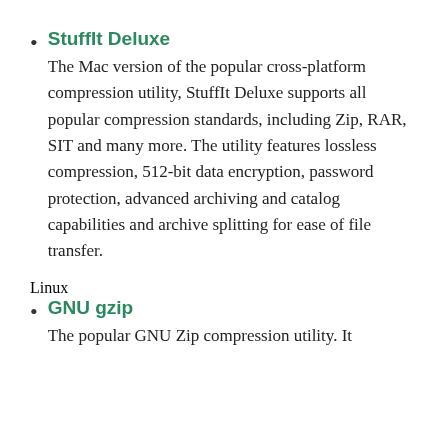StuffIt Deluxe – The Mac version of the popular cross-platform compression utility, StuffIt Deluxe supports all popular compression standards, including Zip, RAR, SIT and many more. The utility features lossless compression, 512-bit data encryption, password protection, advanced archiving and catalog capabilities and archive splitting for ease of file transfer.
Linux
GNU gzip – The popular GNU Zip compression utility. It